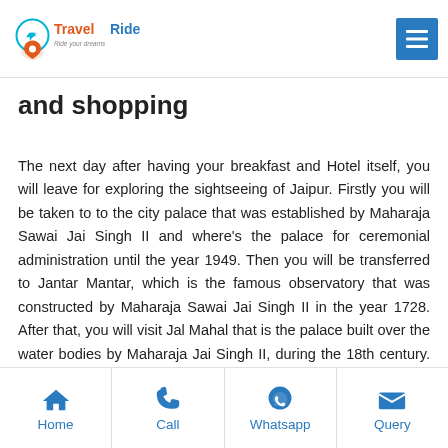TravelRide - Ride your dreams
and shopping
The next day after having your breakfast and Hotel itself, you will leave for exploring the sightseeing of Jaipur. Firstly you will be taken to to the city palace that was established by Maharaja Sawai Jai Singh II and where's the palace for ceremonial administration until the year 1949. Then you will be transferred to Jantar Mantar, which is the famous observatory that was constructed by Maharaja Sawai Jai Singh II in the year 1728. After that, you will visit Jal Mahal that is the palace built over the water bodies by Maharaja Jai Singh II, during the 18th century. And then you will be visiting the Albert Hall Museum, which is the oldest museum located in the Ramnivas Garden and is having Indo-Saracenic and
Home | Call | Whatsapp | Query